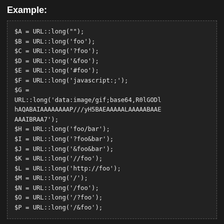Example:
$A = URL::long("");
$B = URL::long('foo');
$C = URL::long('?foo');
$D = URL::long('&foo');
$E = URL::long('#foo');
$F = URL::long('javascript:;');
$G =
URL::long('data:image/gif;base64,R0lGODlhAQABAIAAAAAAAAP///yH5BAEAAAAALAAAAAABAAEAAAIBRAa7');
$H = URL::long('foo/bar');
$I = URL::long('?foo&bar');
$J = URL::long('&foo&bar');
$K = URL::long('//foo');
$L = URL::long('http://foo');
$M = URL::long('/');
$N = URL::long('/foo');
$O = URL::long('/?foo');
$P = URL::long('/&foo');